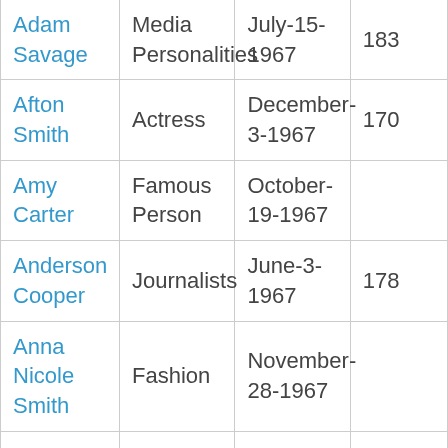| Name | Category | Birth Date | Height |
| --- | --- | --- | --- |
| Adam Savage | Media Personalities | July-15-1967 | 183 |
| Afton Smith | Actress | December-3-1967 | 170 |
| Amy Carter | Famous Person | October-19-1967 |  |
| Anderson Cooper | Journalists | June-3-1967 | 178 |
| Anna Nicole Smith | Fashion | November-28-1967 |  |
| Ben Mankiewicz | Journalists | March-25-1967 |  |
| Beth Chapman | Reality TV Personalities | October-29-1967 | 170 |